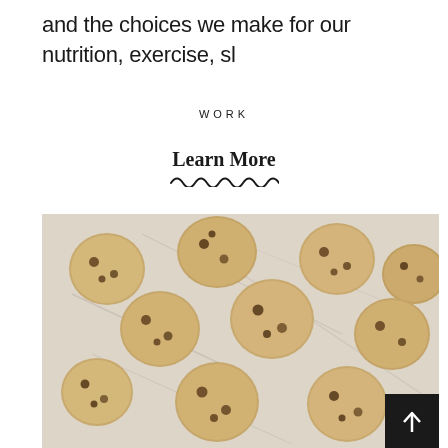and the choices we make for our nutrition, exercise, sl
WORK
Learn More
[Figure (photo): Overhead flat-lay photo of multiple chocolate chip cookies arranged on a white marble surface, with a black arrow/back-to-top button in the bottom right corner.]